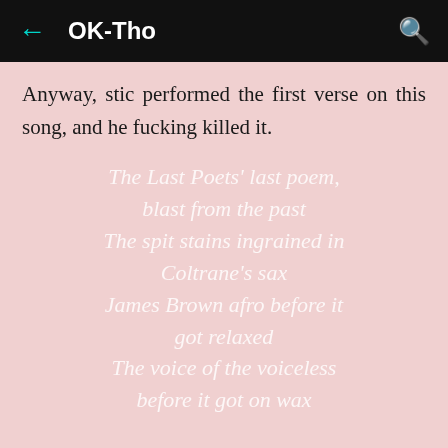← OK-Tho 🔍
Anyway, stic performed the first verse on this song, and he fucking killed it.
The Last Poets' last poem, blast from the past
The spit stains ingrained in Coltrane's sax
James Brown afro before it got relaxed
The voice of the voiceless before it got on wax
I love how poetic his writing here is. The cuts from
DJ D-Frost between the verses are really nice too